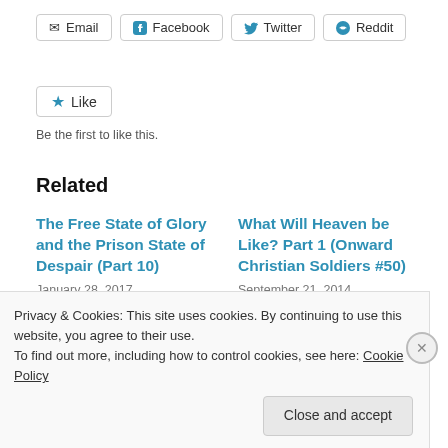[Figure (other): Social share buttons: Email, Facebook, Twitter, Reddit]
[Figure (other): Like button with star icon]
Be the first to like this.
Related
The Free State of Glory and the Prison State of Despair (Part 10)
January 28, 2017
What Will Heaven be Like? Part 1 (Onward Christian Soldiers #50)
September 21, 2014
Privacy & Cookies: This site uses cookies. By continuing to use this website, you agree to their use.
To find out more, including how to control cookies, see here: Cookie Policy
Close and accept